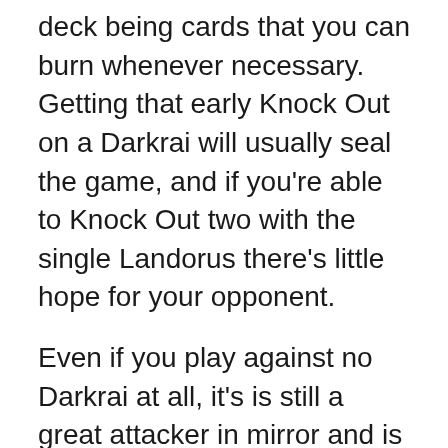deck being cards that you can burn whenever necessary. Getting that early Knock Out on a Darkrai will usually seal the game, and if you're able to Knock Out two with the single Landorus there's little hope for your opponent.
Even if you play against no Darkrai at all, it's is still a great attacker in mirror and is able to 1-shot both Thundurus EX and Absol PLF. Landorus is surely worth a spot if you're expecting Darkrai/Garbodor at your Regionals,